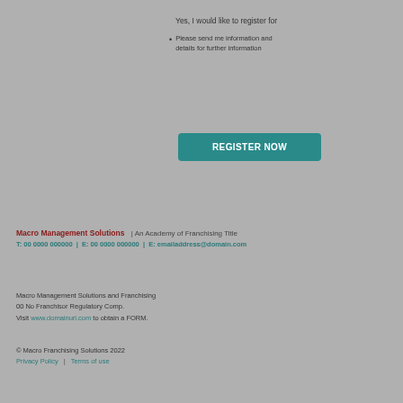Yes, I would like to register for
Please send me information and details for further information
[Figure (other): Teal/green submit or register button]
Macro Management Solutions | An Academy of Franchising Title | T: 00 0000 000000 | E: 00 0000 000000 | E: emailaddress@domain.com
Macro Management Solutions and Franchising 00 No Franchisor Regulatory Comp. Visit www.domainurl.com to obtain a FORM.
© Macro Franchising Solutions 2022 Privacy Policy | Terms of use